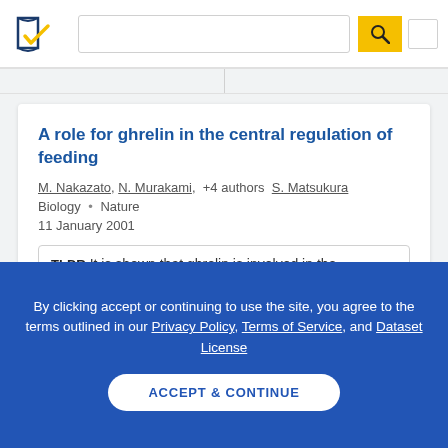[Figure (logo): Semantic Scholar logo — stylized open book with navy and gold checkmark]
A role for ghrelin in the central regulation of feeding
M. Nakazato, N. Murakami, +4 authors S. Matsukura
Biology · Nature
11 January 2001
TLDR It is shown that ghrelin is involved in the hypothalamic regulation of energy homeostasis and
By clicking accept or continuing to use the site, you agree to the terms outlined in our Privacy Policy, Terms of Service, and Dataset License
ACCEPT & CONTINUE